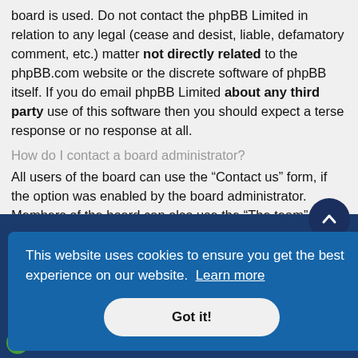board is used. Do not contact the phpBB Limited in relation to any legal (cease and desist, liable, defamatory comment, etc.) matter not directly related to the phpBB.com website or the discrete software of phpBB itself. If you do email phpBB Limited about any third party use of this software then you should expect a terse response or no response at all.
How do I contact a board administrator?
All users of the board can use the “Contact us” form, if the option was enabled by the board administrator.
Members of the board can also use the “The team” link.
This website uses cookies to ensure you get the best experience on our website. Learn more
Got it!
Re: Coffee- Home Roasting